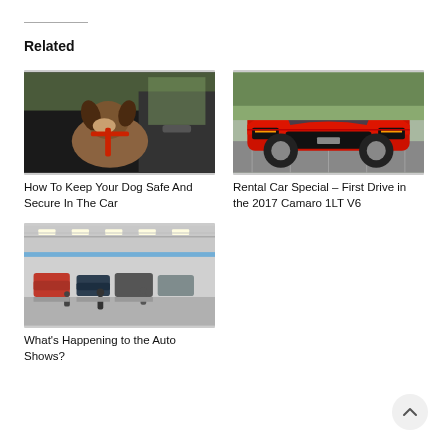Related
[Figure (photo): A dog in a car harness sitting in the back seat of a vehicle, looking out the door]
How To Keep Your Dog Safe And Secure In The Car
[Figure (photo): Front view of a red 2017 Chevrolet Camaro 1LT V6 in a parking lot]
Rental Car Special – First Drive in the 2017 Camaro 1LT V6
[Figure (photo): Interior view of an auto show with many cars on display and people walking around]
What's Happening to the Auto Shows?